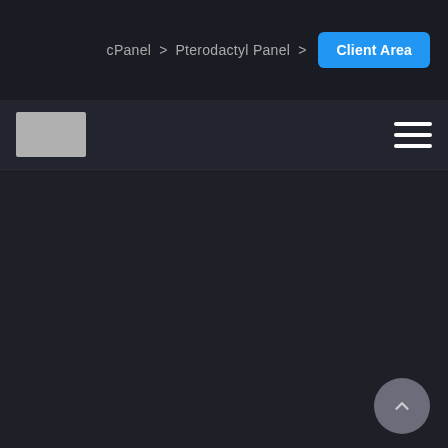[Figure (screenshot): Top gradient bar running from pink/magenta on the left to orange on the right, spanning approximately half the page width]
cPanel > Pterodactyl Panel > Client Area
[Figure (logo): Gray/silver rectangular logo placeholder in the secondary navigation bar]
[Figure (illustration): Hamburger menu icon (three horizontal white lines) in the top right of the secondary navigation bar]
[Figure (illustration): Scroll-to-top button (dark gray circular button with upward chevron arrow) in the bottom right corner]